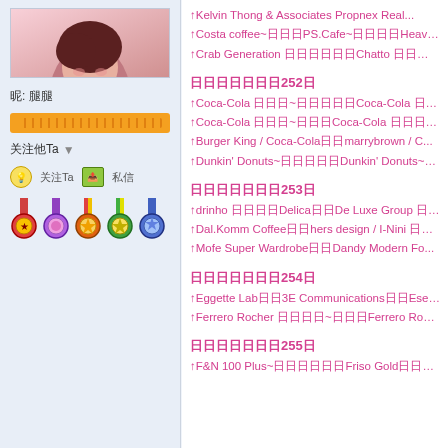[Figure (photo): User avatar photo of a woman with dark hair]
昵: 腿腿
[Figure (other): Orange gradient button bar]
关注他Ta ▼
💡 关注Ta   📤 私信
[Figure (other): Row of achievement badges/medals]
↑Kelvin Thong & Associates Propnex Real...
↑Costa coffee~日日日PS.Cafe~日日日日Heavenly D...
↑Crab Generation 日日日日日日Chatto 日日日Clazroo...
日日日日日日日252日
↑Coca-Cola 日日日~日日日日日Coca-Cola 日日日~日日日日...
↑Coca-Cola 日日日~日日日Coca-Cola 日日日~日日日Tex...
↑Burger King / Coca-Cola日日marrybrown / C...
↑Dunkin' Donuts~日日日日日Dunkin' Donuts~日日日日...
日日日日日日日253日
↑drinho 日日日日Delica日日De Luxe Group 日日日日 | 日...
↑Dal.Komm Coffee日日hers design / I-Nini 日日...
↑Mofe Super Wardrobe日日Dandy Modern Fo...
日日日日日日日254日
↑Eggette Lab日日3E Communications日日Eses2...
↑Ferrero Rocher 日日日日~日日日Ferrero Rocher 日...
日日日日日日日255日
↑F&N 100 Plus~日日日日日日Friso Gold日日Fei Fei C...